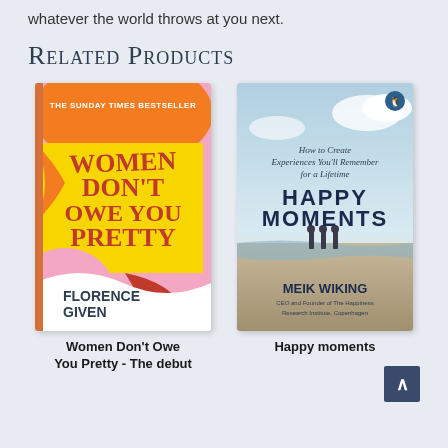whatever the world throws at you next.
Related Products
[Figure (photo): Book cover: Women Don't Owe You Pretty by Florence Given. Colourful design with pink, orange, yellow and red. Text reads THE SUNDAY TIMES BESTSELLER at top, WOMEN DON'T OWE YOU PRETTY in large red lettering, FLORENCE GIVEN at bottom.]
[Figure (photo): Book cover: Happy Moments by Meik Wiking. Sky blue top, photo of people running on a beach at bottom. Text reads: How to Create Experiences You'll Remember for a Lifetime, HAPPY MOMENTS, MEIK WIKING, CEO and Founder of The Happiness Research Institute, Copenhagen.]
Women Don't Owe You Pretty - The debut
Happy moments